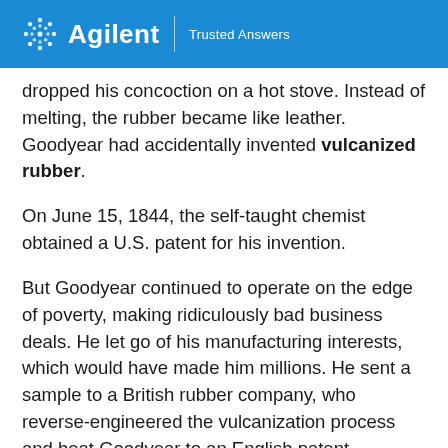Agilent | Trusted Answers
dropped his concoction on a hot stove.  Instead of melting, the rubber became like leather.  Goodyear had accidentally invented vulcanized rubber.
On June 15, 1844, the self-taught chemist obtained a U.S. patent for his invention.
But Goodyear continued to operate on the edge of poverty, making ridiculously bad business deals.  He let go of his manufacturing interests, which would have made him millions.  He sent a sample to a British rubber company, who reverse-engineered the vulcanization process and beat Goodyear to an English patent.  Goodyear ended up fighting more than 30 patent infringement cases over his lifetime.
When he died in 1860, Goodyear was $200,000 in debt